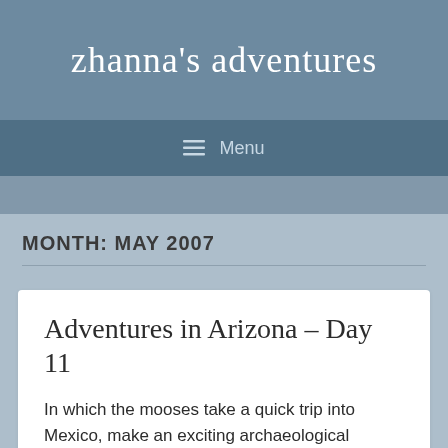zhanna's adventures
≡  Menu
MONTH: MAY 2007
Adventures in Arizona – Day 11
In which the mooses take a quick trip into Mexico, make an exciting archaeological